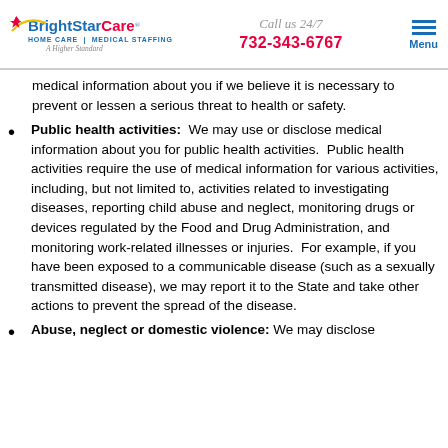BrightStar Care HOME CARE | MEDICAL STAFFING A Higher Standard | Call us 24/7 | 732-343-6767 | Menu
medical information about you if we believe it is necessary to prevent or lessen a serious threat to health or safety.
Public health activities: We may use or disclose medical information about you for public health activities. Public health activities require the use of medical information for various activities, including, but not limited to, activities related to investigating diseases, reporting child abuse and neglect, monitoring drugs or devices regulated by the Food and Drug Administration, and monitoring work-related illnesses or injuries. For example, if you have been exposed to a communicable disease (such as a sexually transmitted disease), we may report it to the State and take other actions to prevent the spread of the disease.
Abuse, neglect or domestic violence: We may disclose